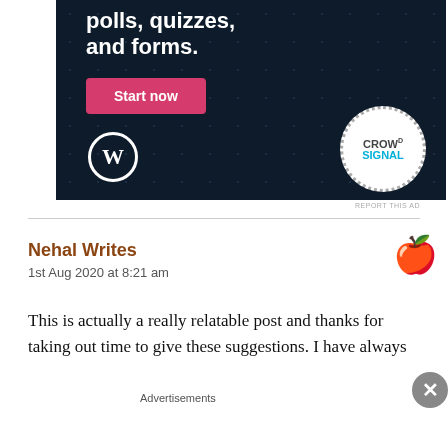[Figure (screenshot): Advertisement banner with dark navy background and dots, showing partial text 'and forms.' with a pink 'Start now' button, WordPress logo, and Crowdsignal logo. Labeled REPORT THIS AD.]
Nehal Writes
1st Aug 2020 at 8:21 am
This is actually a really relatable post and thanks for taking out time to give these suggestions. I have always
Advertisements
[Figure (screenshot): Small advertisement banner: Create surveys, polls, quizzes, and forms. WordPress and Crowdsignal logos.]